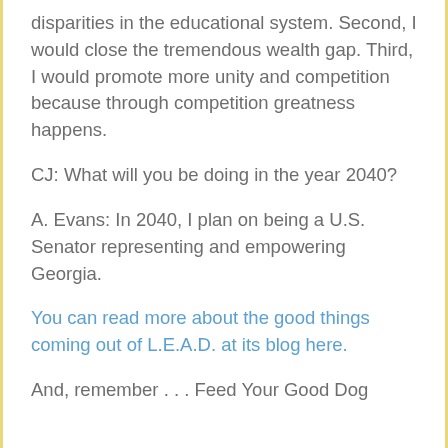disparities in the educational system. Second, I would close the tremendous wealth gap. Third, I would promote more unity and competition because through competition greatness happens.
CJ: What will you be doing in the year 2040?
A. Evans: In 2040, I plan on being a U.S. Senator representing and empowering Georgia.
You can read more about the good things coming out of L.E.A.D. at its blog here.
And, remember . . . Feed Your Good Dog